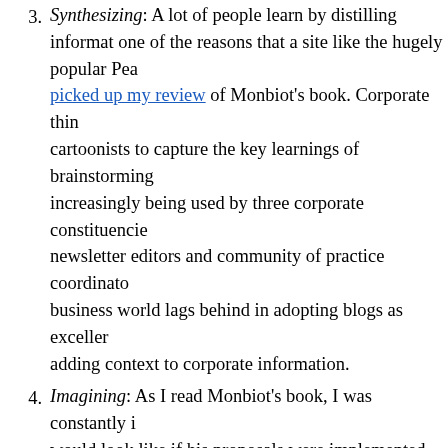3. Synthesizing: A lot of people learn by distilling information one of the reasons that a site like the hugely popular Pea picked up my review of Monbiot's book. Corporate thin cartoonists to capture the key learnings of brainstorming increasingly being used by three corporate constituencies newsletter editors and community of practice coordinato business world lags behind in adopting blogs as exceller adding context to corporate information.
4. Imagining: As I read Monbiot's book, I was constantly i would look like if his proposals were implemented, (b) w in Canada for his proposals to be implemented, and (c) w them implemented. This imagining added greatly to my arguments, and the possibilities they present.
5. Modeling: This visualization from a 1996 paper by Den diagram a lot of information about the causes of global w Flannery's books would both have been better if such vi While I was reading Heat I made systems thinking diag increase my understanding of the book's critical argume appreciation of how societies develop self-managed rule